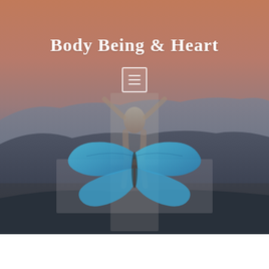[Figure (photo): Full-page background landscape photo showing mountains and sky at dusk/sunset with warm orange-pink tones in the upper portion fading to cool blue-grey tones in the lower portion with mountain ridges visible]
Body Being & Heart
[Figure (illustration): Semi-transparent composite illustration overlaid on the background showing a person in a meditative yoga pose with a large blue morpho butterfly centered over the body, creating a cross/plus shape from overlapping transparent rectangles]